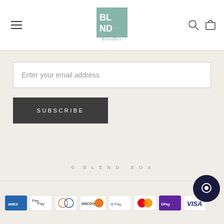[Figure (logo): BlendBox logo: teal square with BL ND letters, and BlendBox text below]
Enter your email address
SUBSCRIBE
© BLEND BOX
[Figure (infographic): Payment method icons: American Express, Apple Pay, Diners Club, Discover, Google Pay, Mastercard, OPay, Visa]